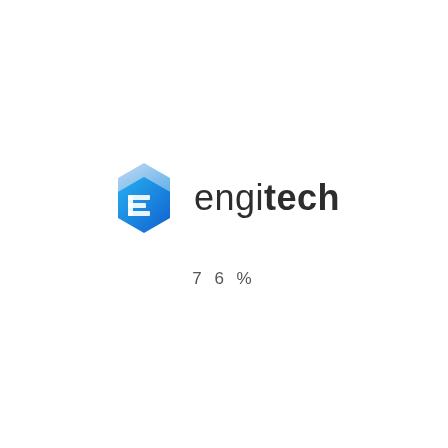[Figure (logo): Engitech logo: a blue gradient hexagonal layered icon on the left, followed by the text 'engitech' with 'engi' in regular weight and 'tech' in bold, dark color.]
76%